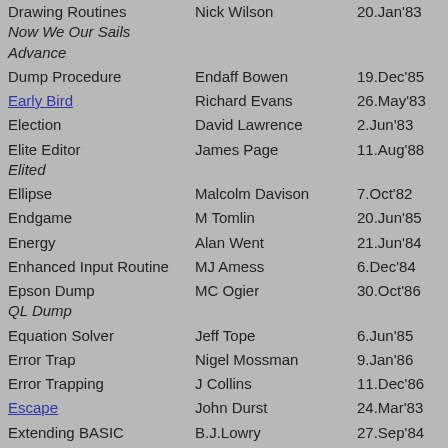| Title | Author | Date | Page |
| --- | --- | --- | --- |
| Drawing Routines
Now We Our Sails Advance | Nick Wilson | 20.Jan'83 | 26 |
| Dump Procedure | Endaff Bowen | 19.Dec'85 | 34 |
| Early Bird | Richard Evans | 26.May'83 | 37 |
| Election | David Lawrence | 2.Jun'83 | 17 |
| Elite Editor
Elited | James Page | 11.Aug'88 | 31 |
| Ellipse | Malcolm Davison | 7.Oct'82 | 20 |
| Endgame | M Tomlin | 20.Jun'85 | 20 |
| Energy | Alan Went | 21.Jun'84 | 20 |
| Enhanced Input Routine | MJ Amess | 6.Dec'84 | 60 |
| Epson Dump
QL Dump | MC Ogier | 30.Oct'86 | 46 |
| Equation Solver | Jeff Tope | 6.Jun'85 | 24 |
| Error Trap | Nigel Mossman | 9.Jan'86 | 17 |
| Error Trapping | J Collins | 11.Dec'86 | 29 |
| Escape | John Durst | 24.Mar'83 | 8 |
| Extending BASIC | B.J.Lowry | 27.Sep'84 | 26 |
| Factorials | Wolfgang Sirges | 8.Jan'87 | 28 |
| Fail-Safe | Keith Irving | 8.May'87 | 39 |